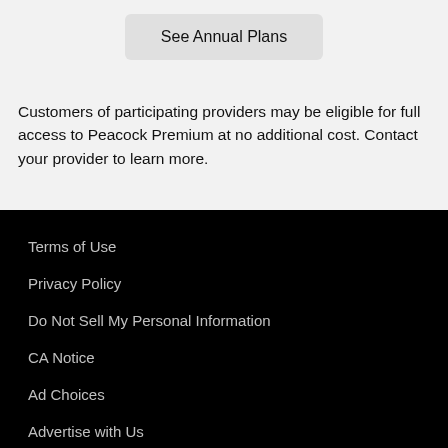[Figure (other): Button labeled 'See Annual Plans' with light gray rounded rectangle background]
Customers of participating providers may be eligible for full access to Peacock Premium at no additional cost. Contact your provider to learn more.
Terms of Use
Privacy Policy
Do Not Sell My Personal Information
CA Notice
Ad Choices
Advertise with Us
Help